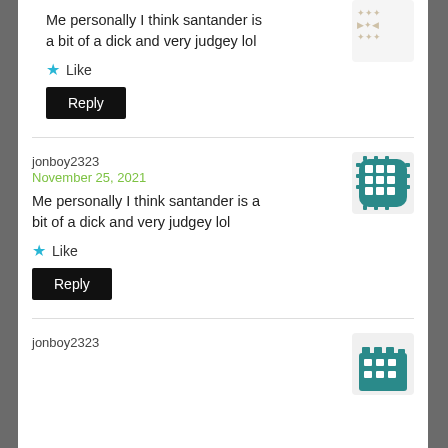Me personally I think santander is a bit of a dick and very judgey lol
Like
Reply
jonboy2323
November 25, 2021
Me personally I think santander is a bit of a dick and very judgey lol
Like
Reply
jonboy2323